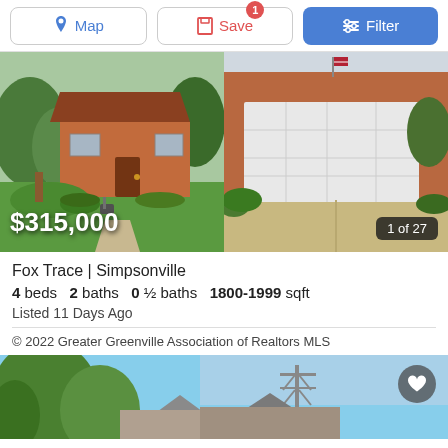Map | Save | Filter
[Figure (photo): Two real estate listing photos side by side: left shows a brick house with green lawn and mailbox, right shows a house with white garage door and concrete driveway. Price overlay: $315,000. Image counter: 1 of 27.]
Fox Trace | Simpsonville
4 beds  2 baths  0 ½ baths  1800-1999 sqft
Listed 11 Days Ago
© 2022 Greater Greenville Association of Realtors MLS
[Figure (photo): Partial view of a second real estate listing showing trees and rooftops against a blue sky, with a heart/save button in the top right corner.]